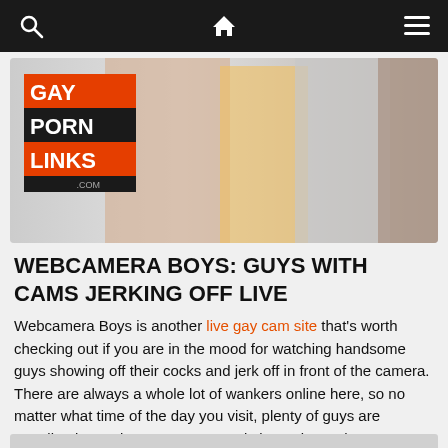Navigation bar with search, home, and menu icons
[Figure (illustration): Gay Porn Links .com banner with logo and male models]
WEBCAMERA BOYS: GUYS WITH CAMS JERKING OFF LIVE
Webcamera Boys is another live gay cam site that's worth checking out if you are in the mood for watching handsome guys showing off their cocks and jerk off in front of the camera. There are always a whole lot of wankers online here, so no matter what time of the day you visit, plenty of guys are standing by to obey your commands in a private chat. Webcamera Boys is mostly populated by Latino boys, but there are usually some cute white twinks and other hotties here too